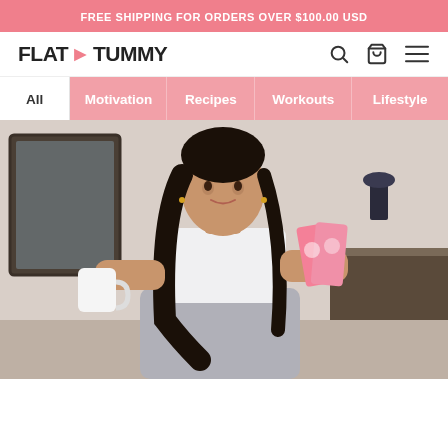FREE SHIPPING FOR ORDERS OVER $100.00 USD
[Figure (logo): Flat Tummy logo with pink arrow between FLAT and TUMMY text]
[Figure (photo): A woman in workout clothes (white crop top, grey leggings) holding a white mug in one hand and pink product packets in the other, standing in a kitchen/home interior background]
All  Motivation  Recipes  Workouts  Lifestyle